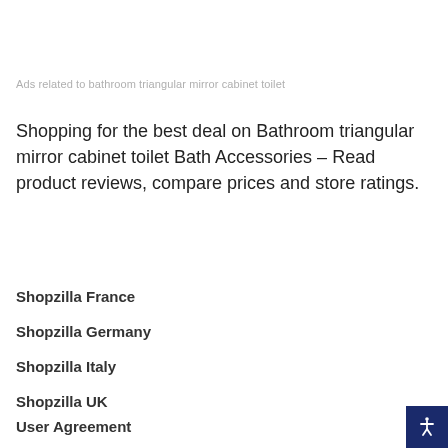Ads related to bathroom triangular mirror cabinet toilet
Shopping for the best deal on Bathroom triangular mirror cabinet toilet Bath Accessories – Read product reviews, compare prices and store ratings.
Shopzilla France
Shopzilla Germany
Shopzilla Italy
Shopzilla UK
User Agreement
[Figure (other): Accessibility icon button in dark blue square at bottom-right corner]